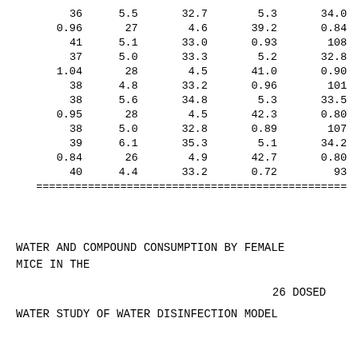| 36 | 5.5 | 32.7 | 5.3 | 34.0 |
| 0.96 | 27 | 4.6 | 39.2 | 0.84 |
| 41 | 5.1 | 33.0 | 0.93 | 108 |
| 37 | 5.0 | 33.3 | 5.2 | 32.8 |
| 1.04 | 28 | 4.5 | 41.0 | 0.90 |
| 38 | 4.8 | 33.2 | 0.96 | 101 |
| 38 | 5.6 | 34.8 | 5.3 | 33.5 |
| 0.95 | 28 | 4.5 | 42.3 | 0.80 |
| 38 | 5.0 | 32.8 | 0.89 | 107 |
| 39 | 6.1 | 35.3 | 5.1 | 34.2 |
| 0.84 | 26 | 4.9 | 42.7 | 0.80 |
| 40 | 4.4 | 33.2 | 0.72 | 93 |
WATER AND COMPOUND CONSUMPTION BY FEMALE MICE IN THE
26 DOSED
WATER STUDY OF WATER DISINFECTION MODEL